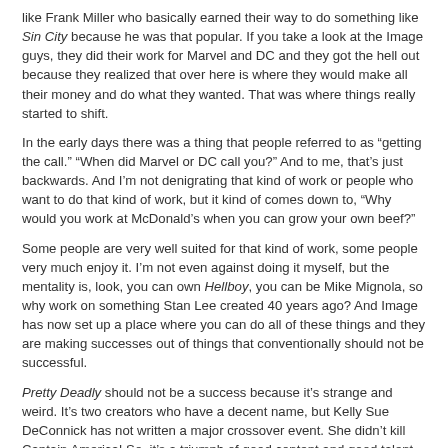like Frank Miller who basically earned their way to do something like Sin City because he was that popular. If you take a look at the Image guys, they did their work for Marvel and DC and they got the hell out because they realized that over here is where they would make all their money and do what they wanted. That was where things really started to shift.
In the early days there was a thing that people referred to as “getting the call.” “When did Marvel or DC call you?” And to me, that’s just backwards. And I’m not denigrating that kind of work or people who want to do that kind of work, but it kind of comes down to, “Why would you work at McDonald’s when you can grow your own beef?”
Some people are very well suited for that kind of work, some people very much enjoy it. I’m not even against doing it myself, but the mentality is, look, you can own Hellboy, you can be Mike Mignola, so why work on something Stan Lee created 40 years ago? And Image has now set up a place where you can do all of these things and they are making successes out of things that conventionally should not be successful.
Pretty Deadly should not be a success because it’s strange and weird. It’s two creators who have a decent name, but Kelly Sue DeConnick has not written a major crossover event. She didn’t kill Captain America! So, it’s a triumph of good content and good talent and a place that just said, “Yeah, let’s do this crazy idea. Let’s go for it.”